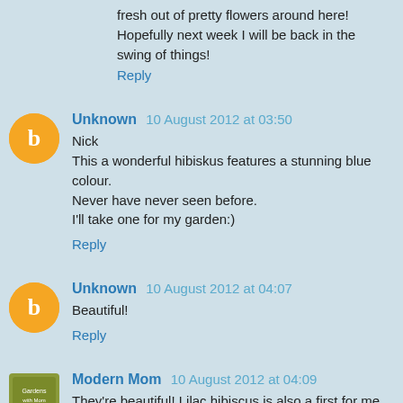fresh out of pretty flowers around here! Hopefully next week I will be back in the swing of things!
Reply
Unknown 10 August 2012 at 03:50
Nick
This a wonderful hibiskus features a stunning blue colour.
Never have never seen before.
I'll take one for my garden:)
Reply
Unknown 10 August 2012 at 04:07
Beautiful!
Reply
Modern Mom 10 August 2012 at 04:09
They're beautiful! Lilac hibiscus is also a first for me.